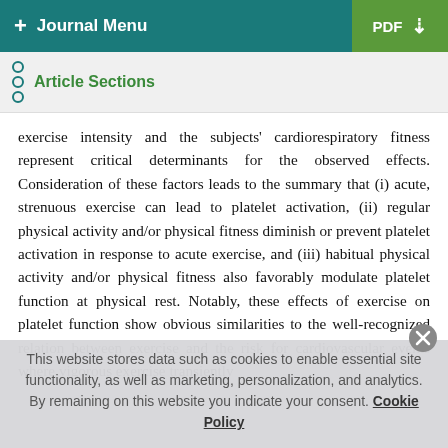+ Journal Menu | PDF
Article Sections
exercise intensity and the subjects' cardiorespiratory fitness represent critical determinants for the observed effects. Consideration of these factors leads to the summary that (i) acute, strenuous exercise can lead to platelet activation, (ii) regular physical activity and/or physical fitness diminish or prevent platelet activation in response to acute exercise, and (iii) habitual physical activity and/or physical fitness also favorably modulate platelet function at physical rest. Notably, these effects of exercise on platelet function show obvious similarities to the well-recognized relation between exercise and the risk for cardiovascular events where vigorous exercise transiently
This website stores data such as cookies to enable essential site functionality, as well as marketing, personalization, and analytics. By remaining on this website you indicate your consent. Cookie Policy